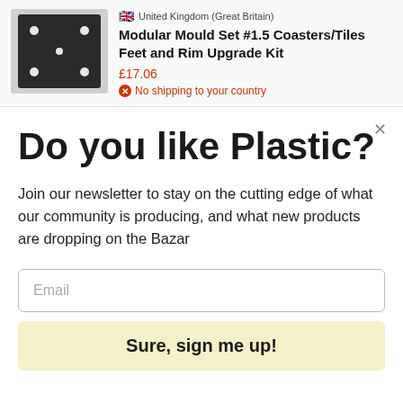[Figure (photo): Dark square mould tray with small white circular dots/holes on a light background]
United Kingdom (Great Britain)
Modular Mould Set #1.5 Coasters/Tiles Feet and Rim Upgrade Kit
£17.06
No shipping to your country
Do you like Plastic?
Join our newsletter to stay on the cutting edge of what our community is producing, and what new products are dropping on the Bazar
Email
Sure, sign me up!